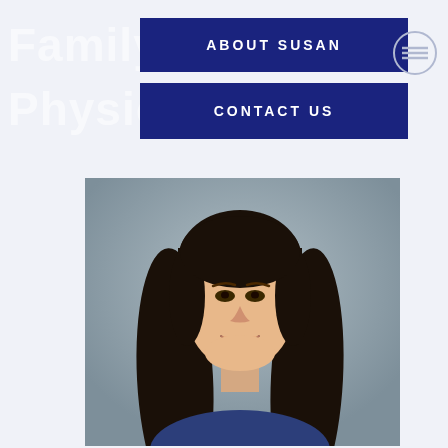Family Physio
ABOUT SUSAN
CONTACT US
[Figure (photo): Professional headshot of a woman with long dark hair, smiling, against a gray background]